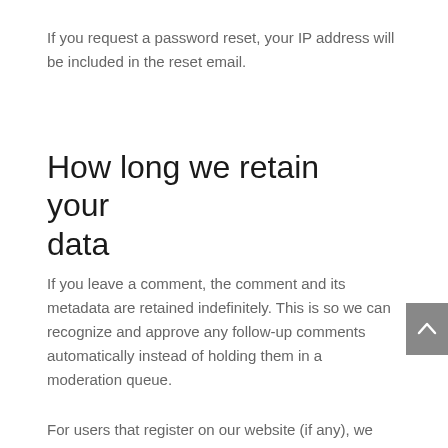If you request a password reset, your IP address will be included in the reset email.
How long we retain your data
If you leave a comment, the comment and its metadata are retained indefinitely. This is so we can recognize and approve any follow-up comments automatically instead of holding them in a moderation queue.
For users that register on our website (if any), we